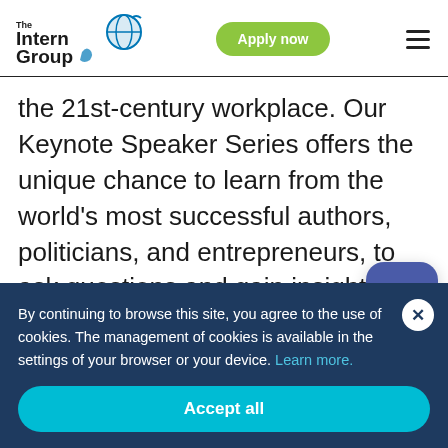The Intern Group | Apply now
the 21st-century workplace. Our Keynote Speaker Series offers the unique chance to learn from the world's most successful authors, politicians, and entrepreneurs, to ask questions and gain insights.
Whether you're pursuing an internship to help ensure a smooth transition to your first job, advance the advancement of your global knowledge, the professional opportunities are endless.
By continuing to browse this site, you agree to the use of cookies. The management of cookies is available in the settings of your browser or your device. Learn more.